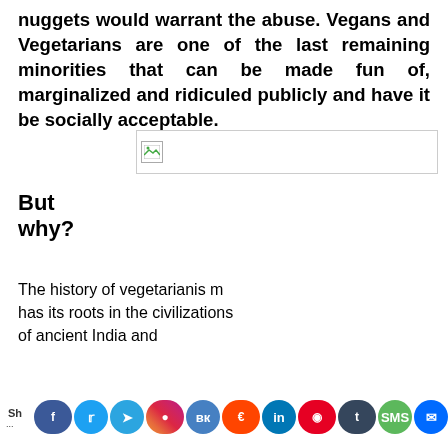nuggets would warrant the abuse. Vegans and Vegetarians are one of the last remaining minorities that can be made fun of, marginalized and ridiculed publicly and have it be socially acceptable.
[Figure (other): Broken image placeholder (image failed to load)]
But why?
The history of vegetarianism has its roots in the civilizations of ancient India and
[Figure (infographic): Social media share bar with icons for Facebook, Twitter, Telegram, Instagram, VK, Reddit, LinkedIn, Pinterest, Tumblr, SMS, Messenger, WhatsApp, Viber, Skype, Email, Gmail, Yahoo, and more sharing options]